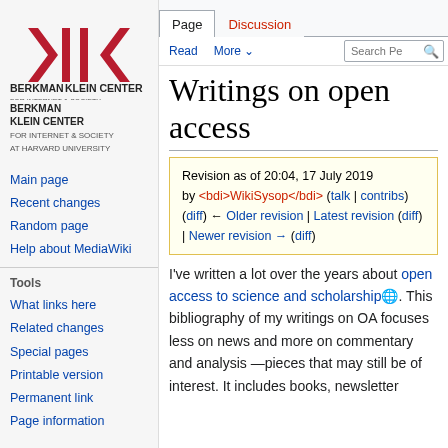Log in
[Figure (logo): Berkman Klein Center for Internet & Society at Harvard University logo — red angular bracket shapes with vertical bars]
Main page
Recent changes
Random page
Help about MediaWiki
Tools
What links here
Related changes
Special pages
Printable version
Permanent link
Page information
Writings on open access
Revision as of 20:04, 17 July 2019 by <bdi>WikiSysop</bdi> (talk | contribs)
(diff) ← Older revision | Latest revision (diff) | Newer revision → (diff)
I've written a lot over the years about open access to science and scholarship. This bibliography of my writings on OA focuses less on news and more on commentary and analysis —pieces that may still be of interest. It includes books, newsletter...